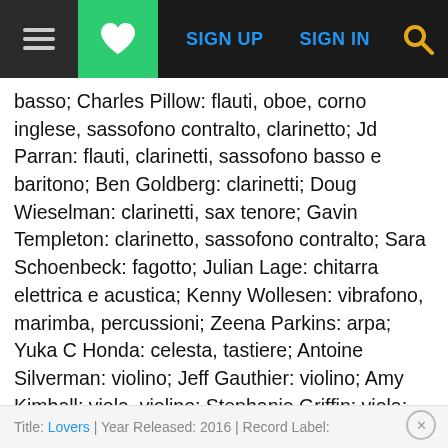≡ ♥ SIGN UP  SIGN IN  🔍
basso; Charles Pillow: flauti, oboe, corno inglese, sassofono contralto, clarinetto; Jd Parran: flauti, clarinetti, sassofono basso e baritono; Ben Goldberg: clarinetti; Doug Wieselman: clarinetti, sax tenore; Gavin Templeton: clarinetto, sassofono contralto; Sara Schoenbeck: fagotto; Julian Lage: chitarra elettrica e acustica; Kenny Wollesen: vibrafono, marimba, percussioni; Zeena Parkins: arpa; Yuka C Honda: celesta, tastiere; Antoine Silverman: violino; Jeff Gauthier: violino; Amy Kimball: viola, violino; Stephanie Griffin: viola; Erik Friedlander: violoncello; Maggie Parkins: violoncello.
Album Information
Title: Lovers | Year Released: 2016 | Record Label: